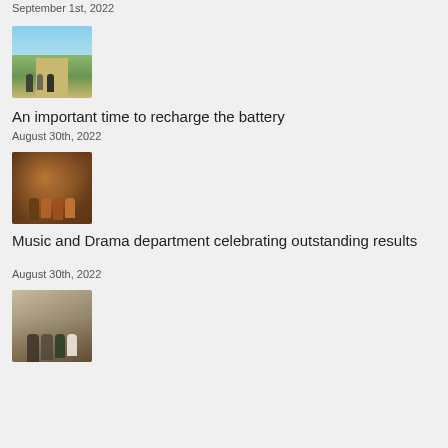September 1st, 2022
[Figure (photo): People walking on a path through a field]
An important time to recharge the battery
August 30th, 2022
[Figure (photo): Group of young people with red/orange hair celebrating]
Music and Drama department celebrating outstanding results
August 30th, 2022
[Figure (photo): Group of people posing outdoors near stone building]